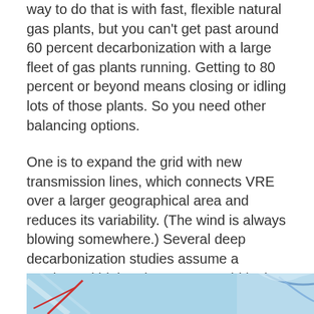way to do that is with fast, flexible natural gas plants, but you can't get past around 60 percent decarbonization with a large fleet of gas plants running. Getting to 80 percent or beyond means closing or idling lots of those plants. So you need other balancing options.
One is to expand the grid with new transmission lines, which connects VRE over a larger geographical area and reduces its variability. (The wind is always blowing somewhere.) Several deep decarbonization studies assume a continental high-voltage super-grid in the US, with all regions linked up. (Needless to say, such a thing does not exist and would be quite expensive.)
[Figure (illustration): Partial view of an illustrated map or infographic with a light blue background, showing portions of geographic outlines or arrows in red and blue tones, partially cut off at the bottom of the page.]